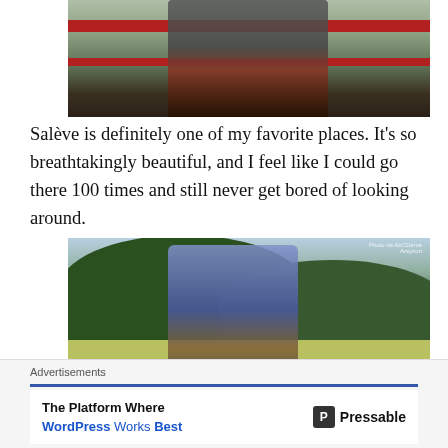[Figure (photo): Person standing at a railing overlook, wearing a floral jacket and red sash, with a scenic landscape behind]
Salève is definitely one of my favorite places. It's so breathtakingly beautiful, and I feel like I could go there 100 times and still never get bored of looking around.
[Figure (photo): Person standing in an open field with arms outstretched, green hillside and mountains in the background]
Advertisements
The Platform Where WordPress Works Best